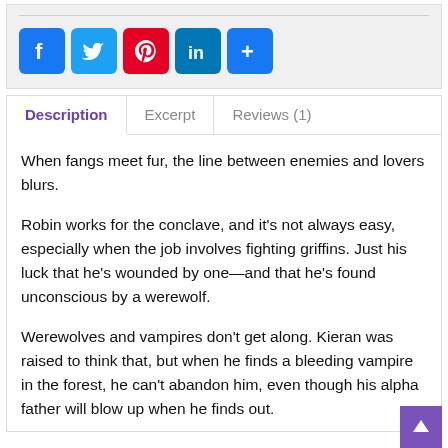[Figure (other): Social media sharing icons: Facebook, Twitter, Pinterest, LinkedIn, and a More (+) button]
Description | Excerpt | Reviews (1)
When fangs meet fur, the line between enemies and lovers blurs.

Robin works for the conclave, and it’s not always easy, especially when the job involves fighting griffins. Just his luck that he’s wounded by one—and that he’s found unconscious by a werewolf.

Werewolves and vampires don’t get along. Kieran was raised to think that, but when he finds a bleeding vampire in the forest, he can’t abandon him, even though his alpha father will blow up when he finds out.